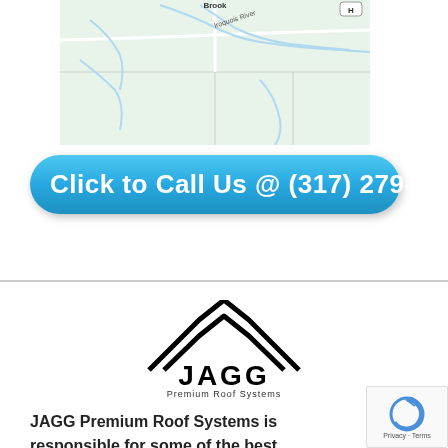[Figure (map): Map showing Brook area with Iroquois River labeled, green terrain background with road and river features]
Click to Call Us @ (317) 279-6137
[Figure (logo): JAGG Premium Roof Systems logo with two chevron/roof shapes above the text JAGG and subtitle Premium Roof Systems]
JAGG Premium Roof Systems is responsible for some of the best